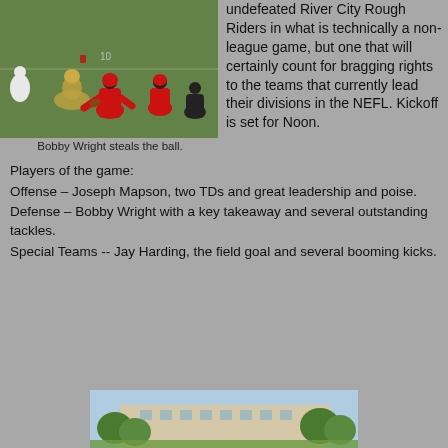[Figure (photo): Football game action photo showing players on field, red and black uniforms, one player stealing the ball]
Bobby Wright steals the ball.
undefeated River City Rough Riders in what is technically a non-league game, but one that will certainly count for bragging rights to the teams that currently lead their divisions in the NEFL. Kickoff is set for Noon.
Players of the game:
Offense – Joseph Mapson, two TDs and great leadership and poise.
Defense – Bobby Wright with a key takeaway and several outstanding tackles.
Special Teams -- Jay Harding, the field goal and several booming kicks.
[Figure (photo): Partial view of a building exterior with trees in the foreground]